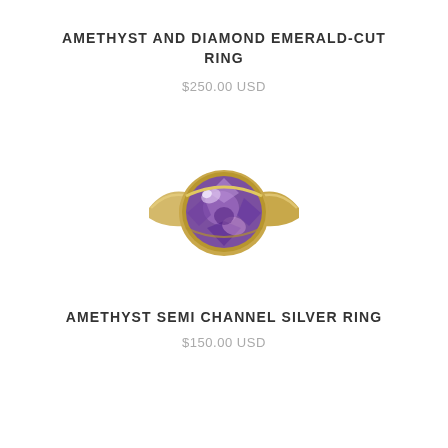AMETHYST AND DIAMOND EMERALD-CUT RING
$250.00 USD
[Figure (photo): A gold ring with a large round faceted amethyst (purple) gemstone set in a semi-bezel mount, photographed on a white background.]
AMETHYST SEMI CHANNEL SILVER RING
$150.00 USD